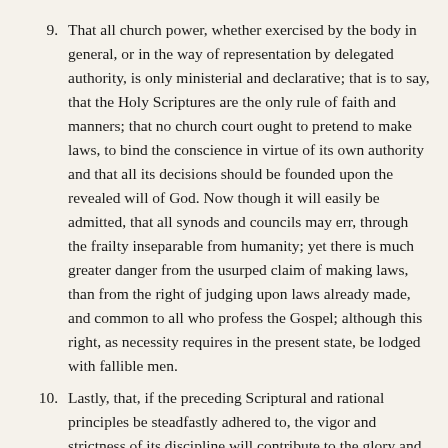9. That all church power, whether exercised by the body in general, or in the way of representation by delegated authority, is only ministerial and declarative; that is to say, that the Holy Scriptures are the only rule of faith and manners; that no church court ought to pretend to make laws, to bind the conscience in virtue of its own authority and that all its decisions should be founded upon the revealed will of God. Now though it will easily be admitted, that all synods and councils may err, through the frailty inseparable from humanity; yet there is much greater danger from the usurped claim of making laws, than from the right of judging upon laws already made, and common to all who profess the Gospel; although this right, as necessity requires in the present state, be lodged with fallible men.
10. Lastly, that, if the preceding Scriptural and rational principles be steadfastly adhered to, the vigor and strictness of its discipline will contribute to the glory and happiness of any Church. Since ecclesiastical discipline